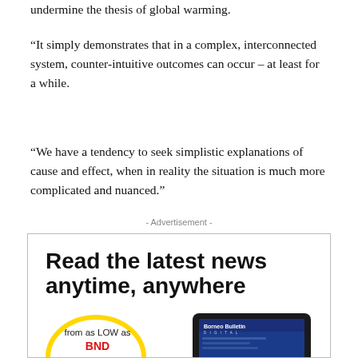undermine the thesis of global warming.
“It simply demonstrates that in a complex, interconnected system, counter-intuitive outcomes can occur – at least for a while.
“We have a tendency to seek simplistic explanations of cause and effect, when in reality the situation is much more complicated and nuanced.”
- Advertisement -
[Figure (infographic): Advertisement banner: 'Read the latest news anytime, anywhere' with price 'from as LOW as BND 4.99' in a yellow oval, and a tablet device image showing Borneo Bulletin Digital.]